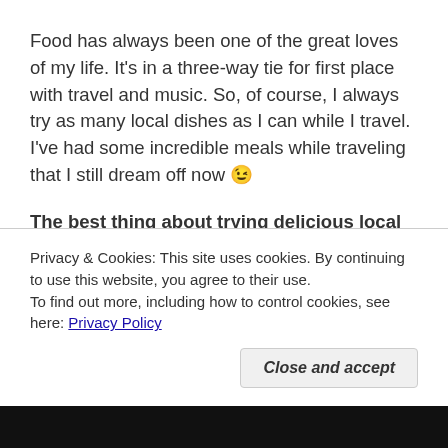Food has always been one of the great loves of my life. It's in a three-way tie for first place with travel and music. So, of course, I always try as many local dishes as I can while I travel. I've had some incredible meals while traveling that I still dream off now 😉
The best thing about trying delicious local dishes is recreating them at home. That's why I always try to take cooking classes on my trips. I love to cook and it is so interesting to learn to cook with new produce and cooking techniques. It's a great and interactive way to
Privacy & Cookies: This site uses cookies. By continuing to use this website, you agree to their use.
To find out more, including how to control cookies, see here: Privacy Policy
Close and accept